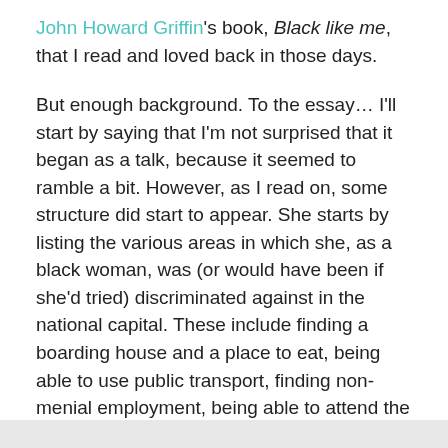John Howard Griffin's book, Black like me, that I read and loved back in those days.
But enough background. To the essay… I'll start by saying that I'm not surprised that it began as a talk, because it seemed to ramble a bit. However, as I read on, some structure did start to appear. She starts by listing the various areas in which she, as a black woman, was (or would have been if she'd tried) discriminated against in the national capital. These include finding a boarding house and a place to eat, being able to use public transport, finding non-menial employment, being able to attend the theatre or a white church, and gaining an education. She introduces her section on transport as follows: